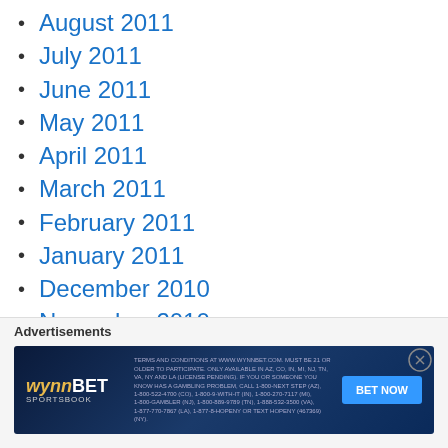August 2011
July 2011
June 2011
May 2011
April 2011
March 2011
February 2011
January 2011
December 2010
November 2010
October 2010
September 2010
August 2010
Advertisements
[Figure (other): WynnBET Sportsbook advertisement banner with BET NOW button]